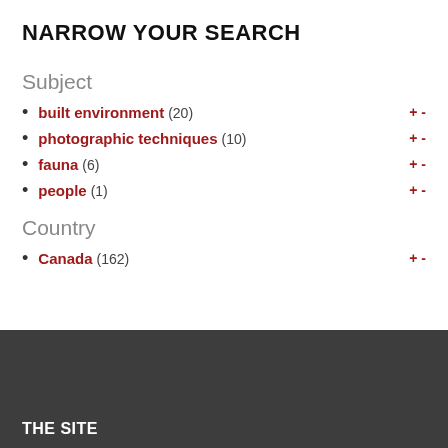NARROW YOUR SEARCH
Subject
built environment (20)
photographic techniques (10)
fauna (6)
people (1)
Country
Canada (162)
THE SITE